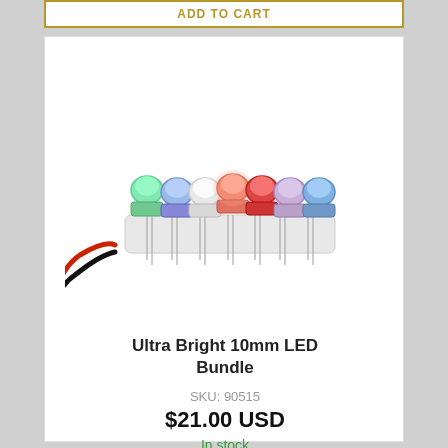ADD TO CART
[Figure (photo): Photo of Ultra Bright 10mm LED Bundle showing 7 colorful LEDs (green, blue, white, pink/red, red, purple, blue) mounted on a white base with metal pins and red/black wires attached]
Ultra Bright 10mm LED Bundle
SKU: 90515
$21.00 USD
In stock